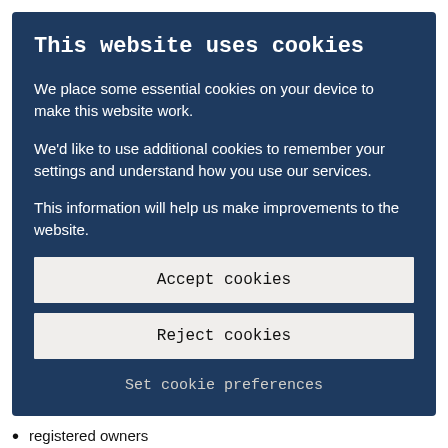This website uses cookies
We place some essential cookies on your device to make this website work.
We'd like to use additional cookies to remember your settings and understand how you use our services.
This information will help us make improvements to the website.
Accept cookies
Reject cookies
Set cookie preferences
registered owners